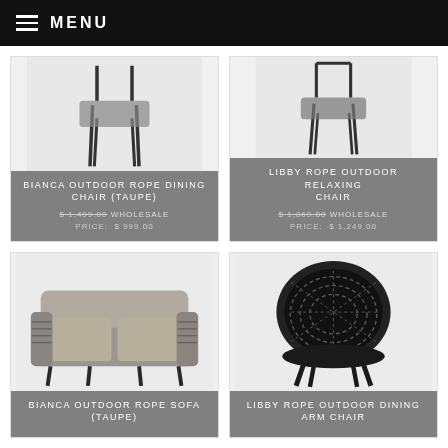MENU
[Figure (photo): Bianca outdoor rope dining chair in taupe colorway, product photo on white background]
BIANCA OUTDOOR ROPE DINING CHAIR (TAUPE)
$ 1,499.00 WHOLESALE PRICE: $ 999.00
[Figure (photo): Libby rope outdoor relaxing chair, product photo on white background]
LIBBY ROPE OUTDOOR RELAXING CHAIR
$ 1,869.00 WHOLESALE PRICE: $ 1,249.00
[Figure (photo): Bianca outdoor rope sofa in taupe colorway, product photo on white background]
BIANCA OUTDOOR ROPE SOFA (TAUPE)
[Figure (photo): Libby rope outdoor dining arm chair, product photo on white background]
LIBBY ROPE OUTDOOR DINING ARM CHAIR